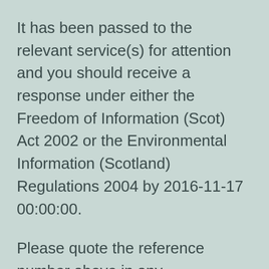It has been passed to the relevant service(s) for attention and you should receive a response under either the Freedom of Information (Scot) Act 2002 or the Environmental Information (Scotland) Regulations 2004 by 2016-11-17 00:00:00.
Please quote the reference number above in any correspondence you may have with the Council in regard to this request.
Regards